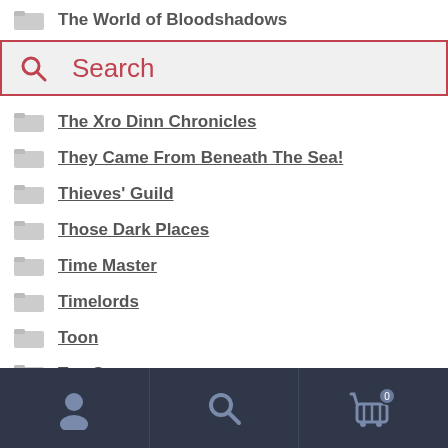The World of Bloodshadows
[Figure (screenshot): Search bar with magnifying glass icon and 'Search' placeholder text, bordered in red/dark pink]
The Xro Dinn Chronicles
They Came From Beneath The Sea!
Thieves' Guild
Those Dark Places
Time Master
Timelords
Toon
Top Secret
Torg and Torg Eternity
[Figure (screenshot): Bottom navigation bar with user/account icon, search icon, and shopping cart icon with badge showing 0]